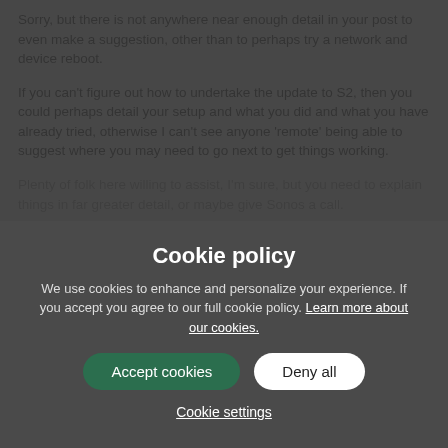Sorry, but there is not anywhere near enough detail in your post to even make a suggestion, other than to perhaps try a network and device reboot.
If you can't figure out how to undertake the update to S2, then you could perhaps detail your setup and what you did and what you have already tried, otherwise I can't see anyone 'remote' being able to suggest where you may need to go next to get things working.
Plenty of folk here willing to assist, I'm sure, but you need to explain things in far greater detail, or maybe give Sonos a call.
[Figure (screenshot): Cookie policy overlay popup on a dark semi-transparent backdrop. Title: 'Cookie policy'. Body text: 'We use cookies to enhance and personalize your experience. If you accept you agree to our full cookie policy. Learn more about our cookies.' Two buttons: 'Accept cookies' (green, rounded) and 'Deny all' (white, rounded). Link below: 'Cookie settings'.]
herinaoto   2 years ago
Ken to be fair to the poster, he didn't ask for assistance but was simply posting the experience he (and many, many others) has.